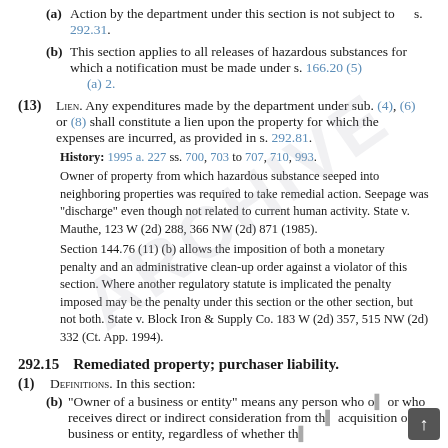(a) Action by the department under this section is not subject to s. 292.31.
(b) This section applies to all releases of hazardous substances for which a notification must be made under s. 166.20 (5) (a) 2.
(13) Lien. Any expenditures made by the department under sub. (4), (6) or (8) shall constitute a lien upon the property for which the expenses are incurred, as provided in s. 292.81.
History: 1995 a. 227 ss. 700, 703 to 707, 710, 993.
Owner of property from which hazardous substance seeped into neighboring properties was required to take remedial action. Seepage was "discharge" even though not related to current human activity. State v. Mauthe, 123 W (2d) 288, 366 NW (2d) 871 (1985).
Section 144.76 (11) (b) allows the imposition of both a monetary penalty and an administrative clean-up order against a violator of this section. Where another regulatory statute is implicated the penalty imposed may be the penalty under this section or the other section, but not both. State v. Block Iron & Supply Co. 183 W (2d) 357, 515 NW (2d) 332 (Ct. App. 1994).
292.15   Remediated property; purchaser liability.
(1) Definitions. In this section:
(b) "Owner of a business or entity" means any person who o... or who receives direct or indirect consideration from th... acquisition of a business or entity, regardless of whether th...